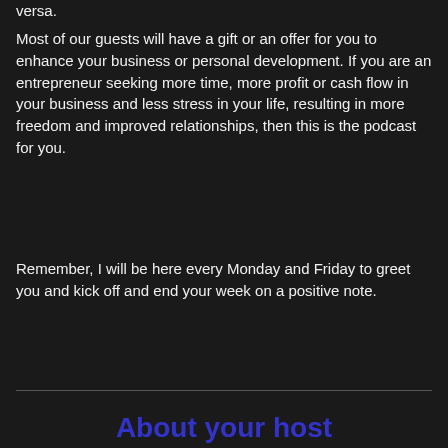versa.
Most of our guests will have a gift or an offer for you to enhance your business or personal development. If you are an entrepreneur seeking more time, more profit or cash flow in your business and less stress in your life, resulting in more freedom and improved relationships, then this is the podcast for you.
Remember, I will be here every Monday and Friday to greet you and kick off and end your week on a positive note.
About your host